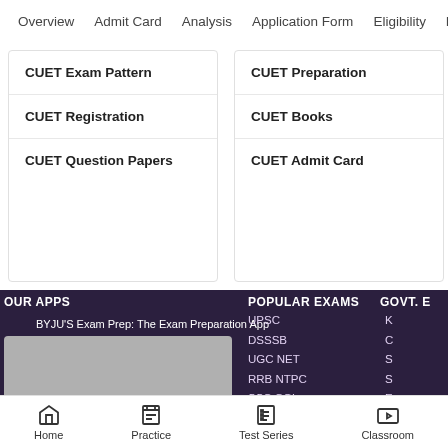Overview  Admit Card  Analysis  Application Form  Eligibility  Ex...
CUET Exam Pattern
CUET Registration
CUET Question Papers
CUET Preparation
CUET Books
CUET Admit Card
OUR APPS
BYJU'S Exam Prep: The Exam Preparation App
[Figure (screenshot): App screenshot placeholder image (grey rectangle)]
POPULAR EXAMS
UPSC
DSSSB
UGC NET
RRB NTPC
SSC CGL
NDA
GATE
SSC GD Constable
CDS
GOVT. E...
Home  Practice  Test Series  Classroom